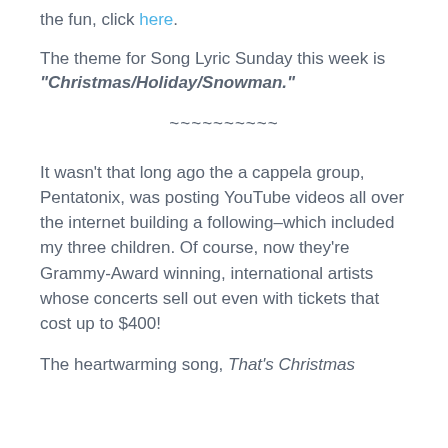the fun, click here.
The theme for Song Lyric Sunday this week is "Christmas/Holiday/Snowman."
~~~~~~~~~~
It wasn't that long ago the a cappela group, Pentatonix, was posting YouTube videos all over the internet building a following–which included my three children. Of course, now they're Grammy-Award winning, international artists whose concerts sell out even with tickets that cost up to $400!
The heartwarming song, That's Christmas